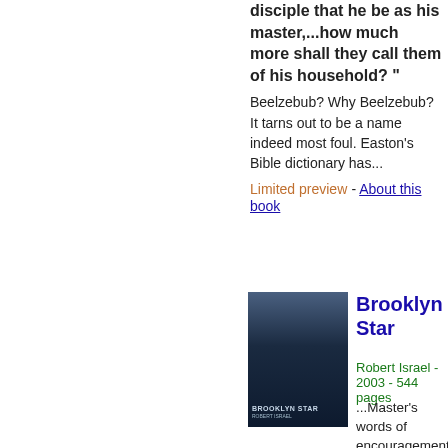disciple that he be as his master,...how much more shall they call them of his household? " Beelzebub? Why Beelzebub? It tarns out to be a name indeed most foul. Easton's Bible dictionary has...
Limited preview - About this book
[Figure (photo): Book cover of Brooklyn Star, dark blue cityscape]
Brooklyn Star
Robert Israel - 2003 - 544 pages
...Master's words of encouragement, "The disciple is